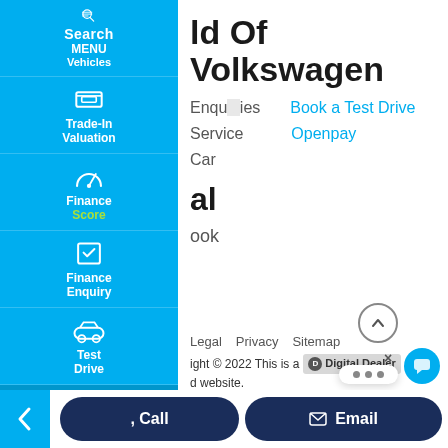[Figure (screenshot): Volkswagen dealership website screenshot showing navigation sidebar with icons for Search Vehicles, Trade-In Valuation, Finance Score, Finance Enquiry, Test Drive, Click To Buy, and main content area with site title, navigation links, footer links, copyright notice, and bottom action bar with Call and Email buttons.]
ld Of Volkswagen
Enquiries   Book a Test Drive
Service   Openpay
Car
al
ook
Legal   Privacy   Sitemap
Copyright © 2022 This is a Digital Dealer powered website.